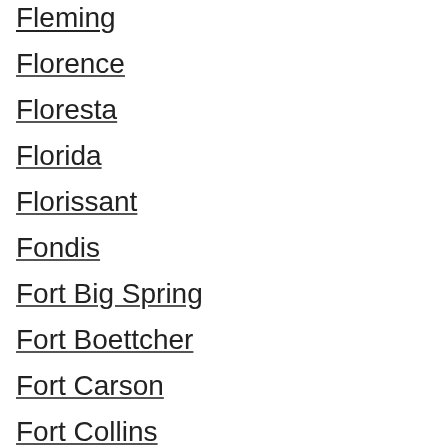Fleming
Florence
Floresta
Florida
Florissant
Fondis
Fort Big Spring
Fort Boettcher
Fort Carson
Fort Collins
Fort Garland